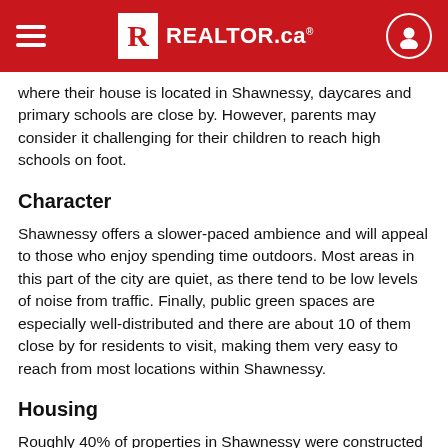REALTOR.ca
where their house is located in Shawnessy, daycares and primary schools are close by. However, parents may consider it challenging for their children to reach high schools on foot.
Character
Shawnessy offers a slower-paced ambience and will appeal to those who enjoy spending time outdoors. Most areas in this part of the city are quiet, as there tend to be low levels of noise from traffic. Finally, public green spaces are especially well-distributed and there are about 10 of them close by for residents to visit, making them very easy to reach from most locations within Shawnessy.
Housing
Roughly 40% of properties in Shawnessy were constructed between 1980 and 1990, while many of the remaining buildings were constructed in the 1990s and the 2000s. The single largest type of single-detached homes in the